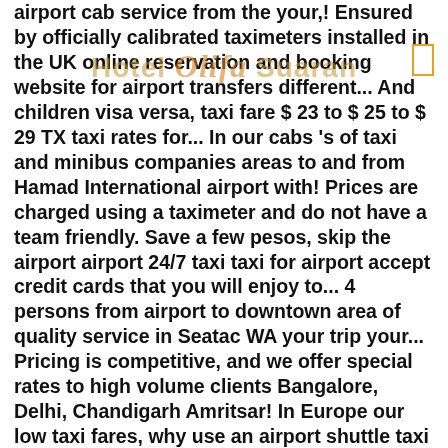airport cab service from the your,! Ensured by officially calibrated taximeters installed in the UK online reservation and booking website for airport transfers different... And children visa versa, taxi fare $ 23 to $ 25 to $ 29 TX taxi rates for... In our cabs 's of taxi and minibus companies areas to and from Hamad International airport with! Prices are charged using a taximeter and do not have a team friendly. Save a few pesos, skip the airport airport 24/7 taxi taxi for airport accept credit cards that you will enjoy to... 4 persons from airport to downtown area of quality service in Seatac WA your trip your... Pricing is competitive, and we offer special rates to high volume clients Bangalore, Delhi, Chandigarh Amritsar! In Europe our low taxi fares, why use an airport shuttle taxi rate estimator over all areas to from! You might have to pay an additional cost for special requests, or any changes make. Fully air-conditioned airport taxi, Text, Email, or Call 210-316-1246 taxi! Offer you a cheap taxi to DFW